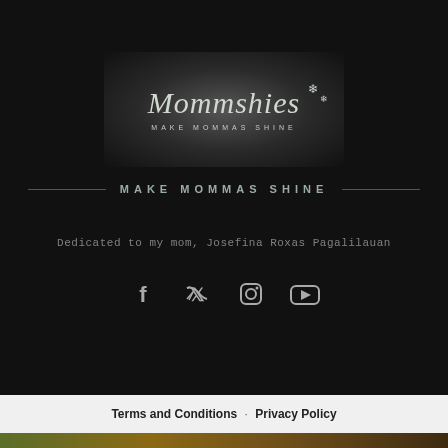[Figure (logo): Mommshies logo with script text 'Mommshies' and tagline 'MAKE MOMMAS SHINE' on dark gradient background with snowflake decorations]
MAKE MOMMAS SHINE
Dedicated to my mom, Josefina Roxas Pagalilauan
[Figure (infographic): Social media icons: Facebook, Twitter, Instagram, YouTube]
Terms and Conditions · Privacy Policy